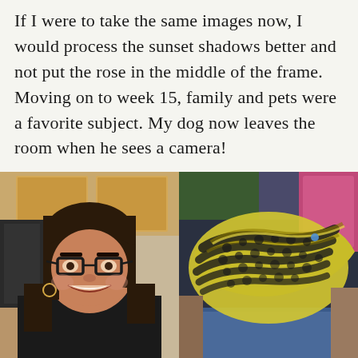If I were to take the same images now, I would process the sunset shadows better and not put the rose in the middle of the frame. Moving on to week 15, family and pets were a favorite subject. My dog now leaves the room when he sees a camera!
[Figure (photo): Portrait photo of a young woman with dark hair and bangs, wearing glasses and a dark jacket, smiling in a kitchen setting]
[Figure (photo): Close-up photo of a yellow and black patterned snake (likely a carpet python), held or resting on someone's lap with jeans visible]